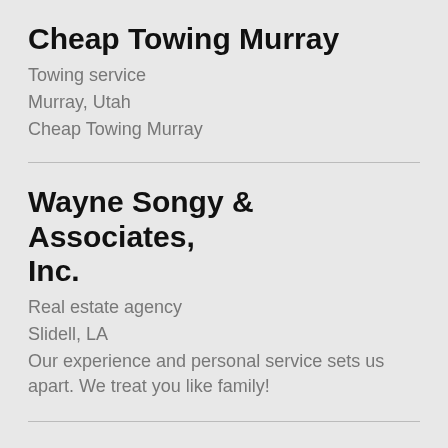Cheap Towing Murray
Towing service
Murray, Utah
Cheap Towing Murray
Wayne Songy & Associates, Inc.
Real estate agency
Slidell, LA
Our experience and personal service sets us apart. We treat you like family!
Index Coffee